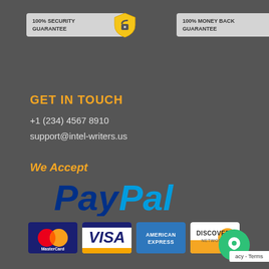[Figure (infographic): 100% Security Guarantee badge with padlock icon on gold/yellow shield]
[Figure (infographic): 100% Money Back Guarantee badge with dollar sign on green shield]
GET IN TOUCH
+1 (234) 4567 8910
support@intel-writers.us
We Accept
[Figure (logo): PayPal logo in large blue and dark blue text]
[Figure (logo): MasterCard, VISA, American Express, Discover Network payment card logos]
[Figure (other): Green chat bubble icon bottom right]
acy - Terms